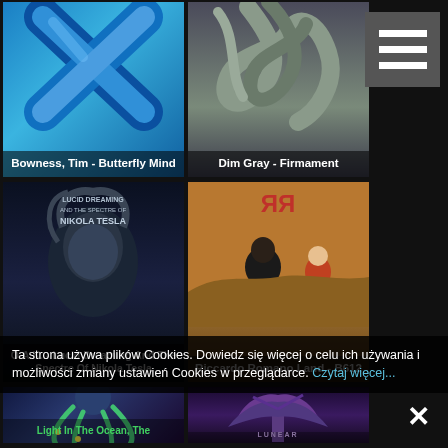[Figure (screenshot): Grid of 6 music album covers on a dark background website. Row 1: Bowness Tim - Butterfly Mind (blue abstract X shape), Dim Gray - Firmament (swirling gray forms). Row 2: O.A.K. - Lucid Dreaming And The Spectre Of Nikola Tesla (dark moody portrait), Riccardo Romano Land - B612 (RR logo with boy and small prince character). Row 3: Light In The Ocean The (colorful octopus), unnamed Linear album (purple/blue tree). Menu hamburger button top right. Cookie consent bar and close X button at bottom.]